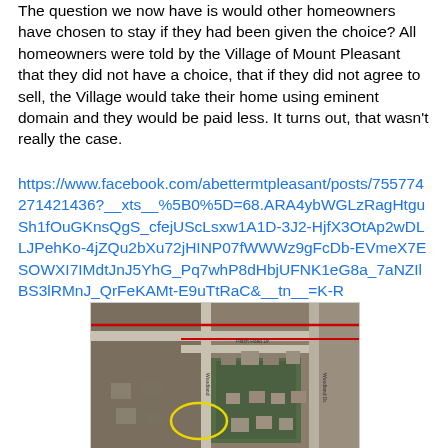The question we now have is would other homeowners have chosen to stay if they had been given the choice? All homeowners were told by the Village of Mount Pleasant that they did not have a choice, that if they did not agree to sell, the Village would take their home using eminent domain and they would be paid less. It turns out, that wasn't really the case.
https://www.facebook.com/abettermtpleasant/posts/755774271421436?__xts__%5B0%5D=68.ARA4ybWGLzRagHtguSh1fOuGKnsQgS_cfejUScLsxw1A1D-3J2-HjfX3OtAp2wDLLJPehKo-4jZQu2bXu72jHINP07fWWWz9gFcDb-EVmeX7ESOWXI7IMdtJnJ5YhG_Pq7whP8dHbjUFNK1eG8a_7aNZIlBS3lRMnJ_QrFeKAMt-E9uTtRaC&__tn__=K-R
[Figure (photo): Aerial/satellite map view showing a residential area with roads, houses, and a yellow oval highlighting a specific property. Red lines are drawn on the map indicating boundaries or routes.]